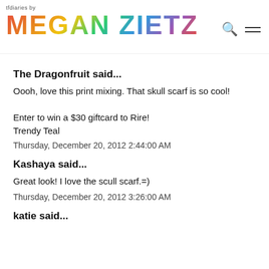tfdiaries by MEGAN ZIETZ
The Dragonfruit said...
Oooh, love this print mixing. That skull scarf is so cool!
Enter to win a $30 giftcard to Rire!
Trendy Teal
Thursday, December 20, 2012 2:44:00 AM
Kashaya said...
Great look! I love the scull scarf.=)
Thursday, December 20, 2012 3:26:00 AM
katie said...